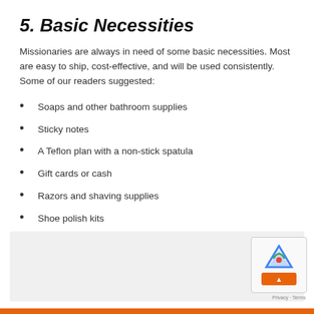5. Basic Necessities
Missionaries are always in need of some basic necessities. Most are easy to ship, cost-effective, and will be used consistently. Some of our readers suggested:
Soaps and other bathroom supplies
Sticky notes
A Teflon plan with a non-stick spatula
Gift cards or cash
Razors and shaving supplies
Shoe polish kits
Sewing kits
[Figure (other): Gray content placeholder box at the bottom of the page with a reCAPTCHA widget in the lower right corner and an orange scroll-to-top button. Privacy and Terms links visible.]